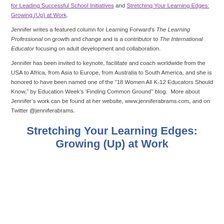for Leading Successful School Initiatives and Stretching Your Learning Edges: Growing (Up) at Work.
Jennifer writes a featured column for Learning Forward's The Learning Professional on growth and change and is a contributor to The International Educator focusing on adult development and collaboration.
Jennifer has been invited to keynote, facilitate and coach worldwide from the USA to Africa, from Asia to Europe, from Australia to South America, and she is honored to have been named one of the “18 Women All K-12 Educators Should Know,” by Education Week’s ‘Finding Common Ground’’ blog.  More about Jennifer’s work can be found at her website, www.jenniferabrams.com, and on Twitter @jenniferabrams.
Stretching Your Learning Edges: Growing (Up) at Work